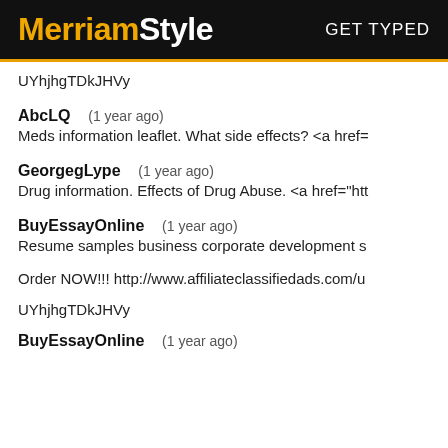MerriamStyle  GET TYPED
UYhjhgTDkJHVy
AbcLQ   (1 year ago)
Meds information leaflet. What side effects? <a href=
GeorgegLype   (1 year ago)
Drug information. Effects of Drug Abuse. <a href="htt
BuyEssayOnline   (1 year ago)
Resume samples business corporate development s
Order NOW!!! http://www.affiliateclassifiedads.com/u
UYhjhgTDkJHVy
BuyEssayOnline   (1 year ago)